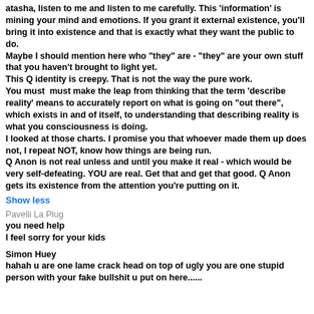atasha, listen to me and listen to me carefully. This 'information' is mining your mind and emotions. If you grant it external existence, you'll bring it into existence and that is exactly what they want the public to do.
Maybe I should mention here who "they" are - "they" are your own stuff that you haven't brought to light yet.
This Q identity is creepy. That is not the way the pure work.
You must  must make the leap from thinking that the term 'describe reality' means to accurately report on what is going on "out there", which exists in and of itself, to understanding that describing reality is what you consciousness is doing.
I looked at those charts. I promise you that whoever made them up does not, I repeat NOT, know how things are being run.
Q Anon is not real unless and until you make it real - which would be very self-defeating. YOU are real. Get that and get that good. Q Anon gets its existence from the attention you're putting on it.
Show less
Pavelli La Plug
you need help
I feel sorry for your kids
Simon Huey
hahah u are one lame crack head on top of ugly you are one stupid person with your fake bullshit u put on here......